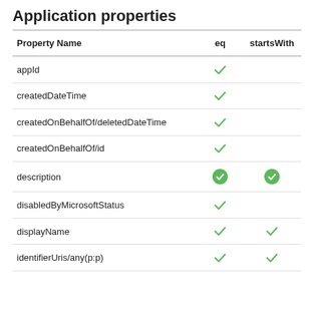Application properties
| Property Name | eq | startsWith |
| --- | --- | --- |
| appId | ✓ |  |
| createdDateTime | ✓ |  |
| createdOnBehalfOf/deletedDateTime | ✓ |  |
| createdOnBehalfOf/id | ✓ |  |
| description | ● (filled) | ● (filled) |
| disabledByMicrosoftStatus | ✓ |  |
| displayName | ✓ | ✓ |
| identifierUris/any(p:p) | ✓ | ✓ |